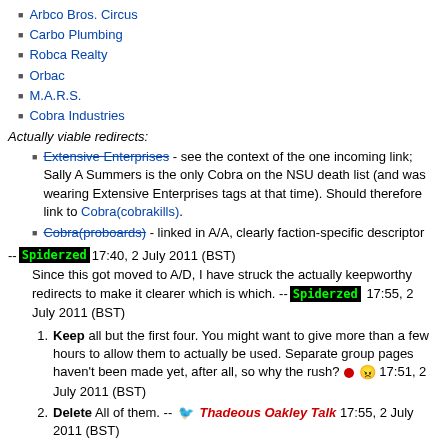Arbco Bros. Circus
Carbo Plumbing
Robca Realty
Orbac
M.A.R.S.
Cobra Industries
Actually viable redirects:
Extensive Enterprises - see the context of the one incoming link; Sally A Summers is the only Cobra on the NSU death list (and was wearing Extensive Enterprises tags at that time). Should therefore link to Cobra(cobrakills).
Cobra(proboards) - linked in A/A, clearly faction-specific descriptor
-- Spiderzed 17:40, 2 July 2011 (BST)
Since this got moved to A/D, I have struck the actually keepworthy redirects to make it clearer which is which. -- Spiderzed 17:55, 2 July 2011 (BST)
Keep all but the first four. You might want to give more than a few hours to allow them to actually be used. Separate group pages haven't been made yet, after all, so why the rush? 17:51, 2 July 2011 (BST)
Delete All of them. -- Thadeous Oakley Talk 17:55, 2 July 2011 (BST)